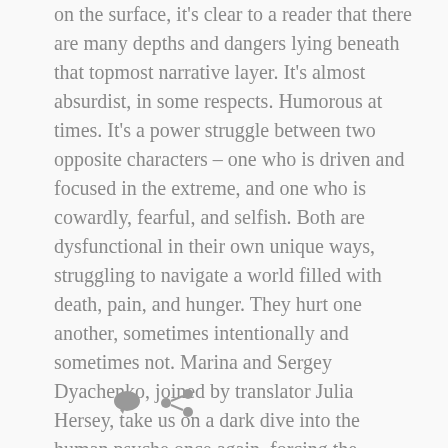on the surface, it's clear to a reader that there are many depths and dangers lying beneath that topmost narrative layer. It's almost absurdist, in some respects. Humorous at times. It's a power struggle between two opposite characters – one who is driven and focused in the extreme, and one who is cowardly, fearful, and selfish. Both are dysfunctional in their own unique ways, struggling to navigate a world filled with death, pain, and hunger. They hurt one another, sometimes intentionally and sometimes not. Marina and Sergey Dyachenko, joined by translator Julia Hersey, take us on a dark dive into the human psyche once again, forcing the brightness of the unknown to cast stark shadows that define the edges of our own reality. … More
[Figure (other): Comment icon (speech bubble) and share/link icon]